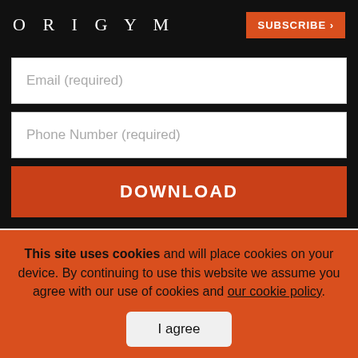ORIGYM | SUBSCRIBE >
Email (required)
Phone Number (required)
DOWNLOAD
Before You Go!
This site uses cookies and will place cookies on your device. By continuing to use this website we assume you agree with our use of cookies and our cookie policy.
I agree